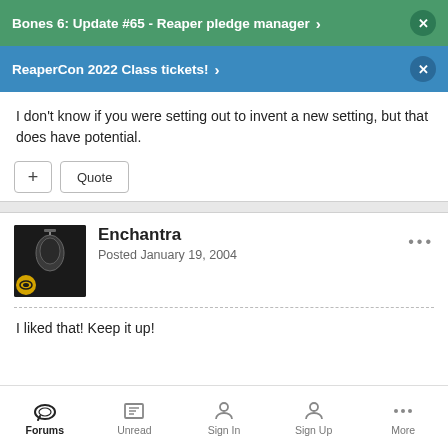Bones 6: Update #65 - Reaper pledge manager
ReaperCon 2022 Class tickets!
I don't know if you were setting out to invent a new setting, but that does have potential.
Enchantra
Posted January 19, 2004
I liked that! Keep it up!
Forums | Unread | Sign In | Sign Up | More